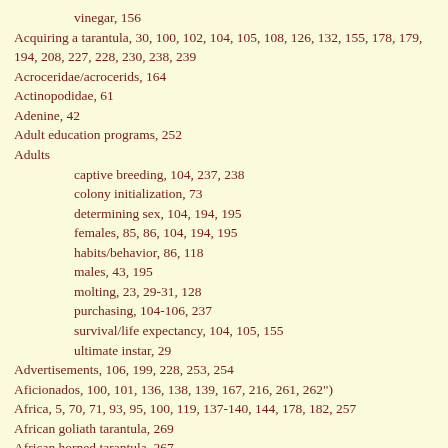vinegar, 156
Acquiring a tarantula, 30, 100, 102, 104, 105, 108, 126, 132, 155, 178, 179, 194, 208, 227, 228, 230, 238, 239
Acroceridae/acrocerids, 164
Actinopodidae, 61
Adenine, 42
Adult education programs, 252
Adults
captive breeding, 104, 237, 238
colony initialization, 73
determining sex, 104, 194, 195
females, 85, 86, 104, 194, 195
habits/behavior, 86, 118
males, 43, 195
molting, 23, 29-31, 128
purchasing, 104-106, 237
survival/life expectancy, 104, 105, 155
ultimate instar, 29
Advertisements, 106, 199, 228, 253, 254
Aficionados, 100, 101, 136, 138, 139, 167, 216, 261, 262")
Africa, 5, 70, 71, 93, 95, 100, 119, 137-140, 144, 178, 182, 257
African goliath tarantula, 269
African horned tarantula, 267
African redrump tarantula, 268
African rock scorpion, Hadogenes species, 59